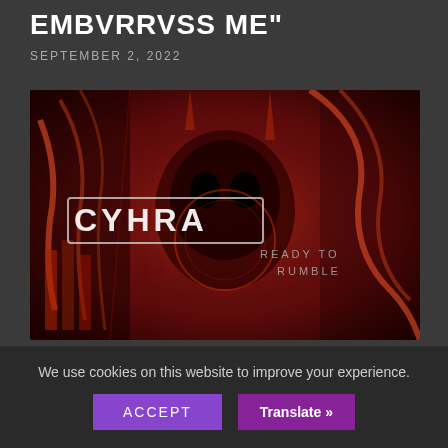EMBVRRVSS ME"
SEPTEMBER 2, 2022
[Figure (photo): Dark red and black metal/gothic artwork showing the CYHRA band logo with text 'READY TO RUMBLE' on a dark dramatic background with metallic skull-like imagery]
CYHRA – RELEASE NEW SINGLE
We use cookies on this website to improve your experience.
ACCEPT
Translate »